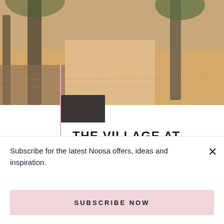[Figure (photo): Outdoor beach path with tree trunks and sandy ground visible, warm sunlit scene]
THE VILLAGE AT PEREGIAN BEACH
Welcome to Peregian Beach – a true village experience. Here you will find a passionate
Subscribe for the latest Noosa offers, ideas and inspiration.
SUBSCRIBE NOW